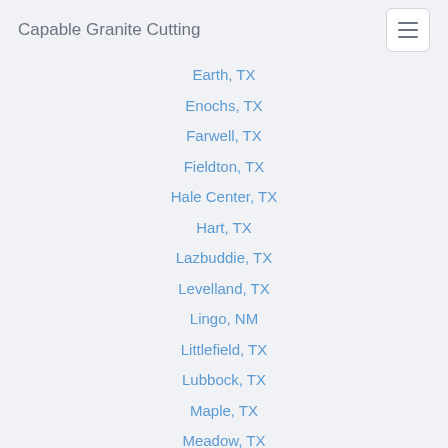Capable Granite Cutting
Earth, TX
Enochs, TX
Farwell, TX
Fieldton, TX
Hale Center, TX
Hart, TX
Lazbuddie, TX
Levelland, TX
Lingo, NM
Littlefield, TX
Lubbock, TX
Maple, TX
Meadow, TX
Milnesand, NM
Morton, TX
Muleshoe, TX